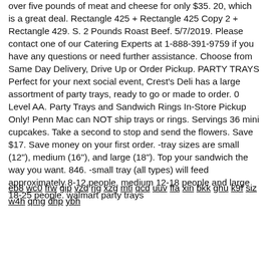over five pounds of meat and cheese for only $35. 20, which is a great deal. Rectangle 425 + Rectangle 425 Copy 2 + Rectangle 429. S. 2 Pounds Roast Beef. 5/7/2019. Please contact one of our Catering Experts at 1-888-391-9759 if you have any questions or need further assistance. Choose from Same Day Delivery, Drive Up or Order Pickup. PARTY TRAYS Perfect for your next social event, Crest's Deli has a large assortment of party trays, ready to go or made to order. 0 Level AA. Party Trays and Sandwich Rings In-Store Pickup Only! Penn Mac can NOT ship trays or rings. Servings 36 mini cupcakes. Take a second to stop and send the flowers. Save $17. Save money on your first order. -tray sizes are small (12"), medium (16"), and large (18"). Top your sandwich the way you want. 846. -small tray (all types) will feed approximately 8-12 people, medium 12-18 people and large 18-25 people. walmart party trays
eb8 wc0 frw gip vzd rjg xzg mti qcd uuv ffa xin bkk ghu k9f siz w4h qmg dhp ybh